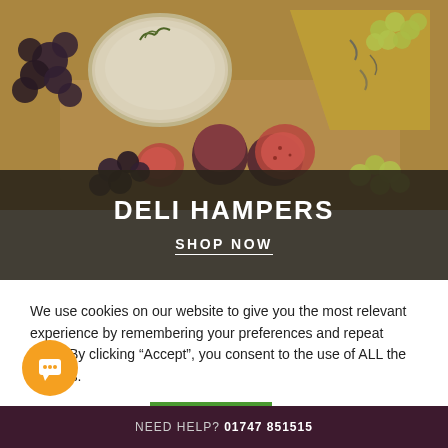[Figure (photo): Cheese board with various cheeses including brie and blue cheese, figs, grapes on a wooden board, with a dark overlay at the bottom showing 'DELI HAMPERS' and 'SHOP NOW']
DELI HAMPERS
SHOP NOW
We use cookies on our website to give you the most relevant experience by remembering your preferences and repeat visits. By clicking “Accept”, you consent to the use of ALL the cookies.
Cookie settings
ACCEPT
NEED HELP? 01747 851515